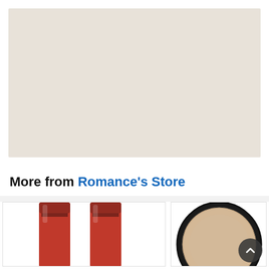[Figure (photo): Product image area with light beige/cream background placeholder where a product photo would appear]
More from Romance's Store
[Figure (photo): Two red lipstick/lip color product tubes shown side by side]
[Figure (photo): A round compact powder/makeup product with black case, partially visible]